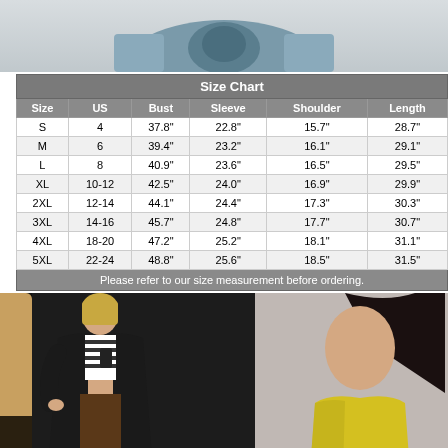[Figure (photo): Top portion of a garment (cardigan/jacket) shown on mannequin or model, gray-blue color, showing collar and shoulder area]
| Size | US | Bust | Sleeve | Shoulder | Length |
| --- | --- | --- | --- | --- | --- |
| S | 4 | 37.8" | 22.8" | 15.7" | 28.7" |
| M | 6 | 39.4" | 23.2" | 16.1" | 29.1" |
| L | 8 | 40.9" | 23.6" | 16.5" | 29.5" |
| XL | 10-12 | 42.5" | 24.0" | 16.9" | 29.9" |
| 2XL | 12-14 | 44.1" | 24.4" | 17.3" | 30.3" |
| 3XL | 14-16 | 45.7" | 24.8" | 17.7" | 30.7" |
| 4XL | 18-20 | 47.2" | 25.2" | 18.1" | 31.1" |
| 5XL | 22-24 | 48.8" | 25.6" | 18.5" | 31.5" |
Please refer to our size measurement before ordering.
[Figure (photo): Two photos side by side: left shows a woman wearing a black open cardigan over a striped crop top, taking a mirror selfie; right shows a woman in a yellow top]
[Figure (photo): Woman in yellow top, partial view showing shoulder and hair]